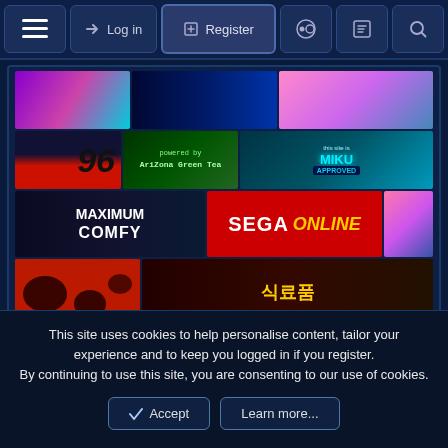Navigation bar with hamburger menu, Log in, Register, and icon buttons
[Figure (screenshot): Collection of pixel-art/anime web badges and banners arranged in rows: Row 1 shows anime art, a blue banner, and a pink vaporwave scene. Row 2 shows a mountain/96 graphic, 'powered by AriZona Green Tea' badge, and 'this site is MIKU APPROVED' badge. Row 3 shows 'maximum COMFY' badge, 'SEGA ONLINE' badge in red, and vaporwave beach scene. Row 4 shows a spotted red/black pattern and Korean text '식료품' food market banner.]
failsafe and Jessica3cho
Andy Kaufman
i know
Feb 24, 2022
This site uses cookies to help personalise content, tailor your experience and to keep you logged in if you register.
By continuing to use this site, you are consenting to our use of cookies.
Accept  Learn more...